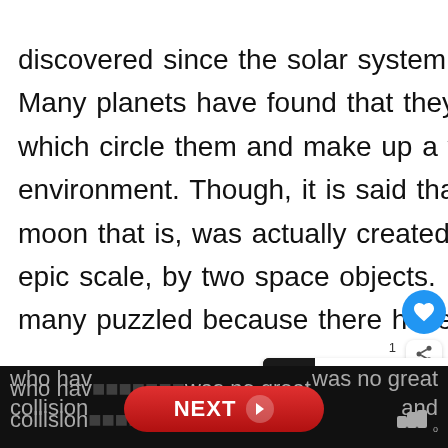discovered since the solar system was first established.  Many planets have found that they have several moons which circle them and make up a vital part of their environment. Though, it is said that the Moon, the Earth's moon that is, was actually created due to a collision on an epic scale, by two space objects.  This is theory that has many puzzled because there have been scientists
who have ... was no great collision ... and